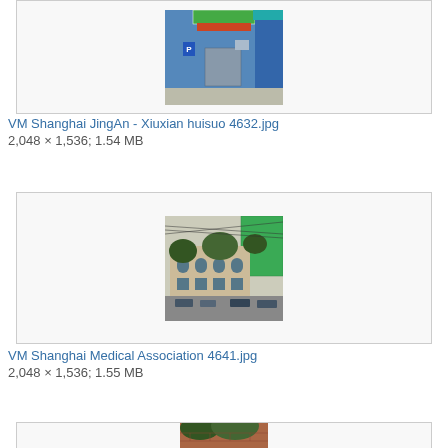[Figure (photo): Photo of a Chinese street scene showing a storefront with colorful signage, a blue building facade, a parking sign, and street elements.]
VM Shanghai JingAn - Xiuxian huisuo 4632.jpg
2,048 × 1,536; 1.54 MB
[Figure (photo): Photo of a historic building in Shanghai with arched windows, surrounded by trees and a modern building under construction in the background.]
VM Shanghai Medical Association 4641.jpg
2,048 × 1,536; 1.55 MB
[Figure (photo): Partial photo showing a brick building with trees, cropped at the bottom of the page.]